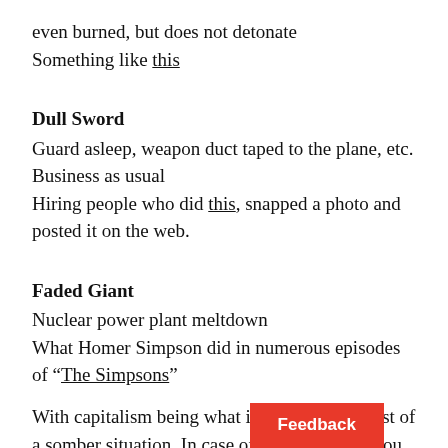even burned, but does not detonate
Something like this
Dull Sword
Guard asleep, weapon duct taped to the plane, etc.
Business as usual
Hiring people who did this, snapped a photo and posted it on the web.
Faded Giant
Nuclear power plant meltdown
What Homer Simpson did in numerous episodes of “The Simpsons”
With capitalism being what it is, makes the best of a somber situation. In case of Broken Arrow you can always order some flowers from Broken Arrow Florists.